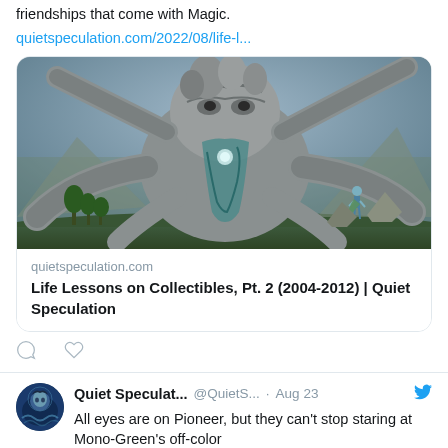friendships that come with Magic.
quietspeculation.com/2022/08/life-l...
[Figure (illustration): Fantasy digital illustration of a massive stone giant creature with multiple legs and arms, looming over a small human figure in a dramatic landscape with rocky terrain and moody sky.]
quietspeculation.com
Life Lessons on Collectibles, Pt. 2 (2004-2012) | Quiet Speculation
Quiet Speculat... @QuietS... · Aug 23
[Figure (illustration): Twitter avatar for Quiet Speculation showing a fantasy character illustration.]
All eyes are on Pioneer, but they can't stop staring at Mono-Green's off-color